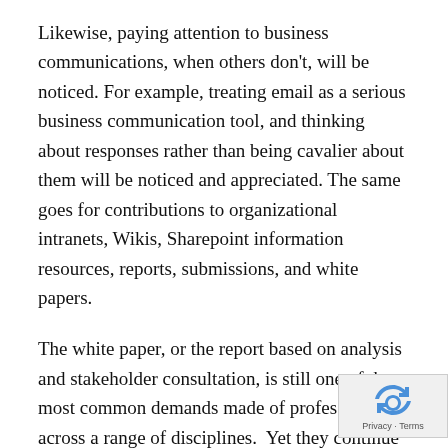Likewise, paying attention to business communications, when others don't, will be noticed. For example, treating email as a serious business communication tool, and thinking about responses rather than being cavalier about them will be noticed and appreciated. The same goes for contributions to organizational intranets, Wikis, Sharepoint information resources, reports, submissions, and white papers.
The white paper, or the report based on analysis and stakeholder consultation, is still one of the most common demands made of professionals across a range of disciplines.  Yet they continue to be handled very badly. Being able to do this well really distinguishes a candidate for a new job or a promotion.